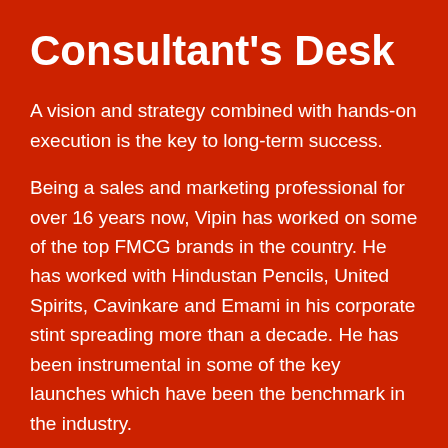Consultant's Desk
A vision and strategy combined with hands-on execution is the key to long-term success.
Being a sales and marketing professional for over 16 years now, Vipin has worked on some of the top FMCG brands in the country. He has worked with Hindustan Pencils, United Spirits, Cavinkare and Emami in his corporate stint spreading more than a decade. He has been instrumental in some of the key launches which have been the benchmark in the industry.
He has played an imperative role in launching Nataraj Pens helping Hindustan Pencils enter into office stationery. He has turned around the de-growing McDowell's No 1 portfolio